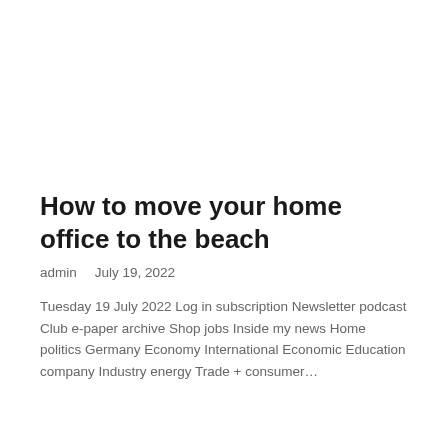How to move your home office to the beach
admin    July 19, 2022
Tuesday 19 July 2022 Log in subscription Newsletter podcast Club e-paper archive Shop jobs Inside my news Home politics Germany Economy International Economic Education company Industry energy Trade + consumer…